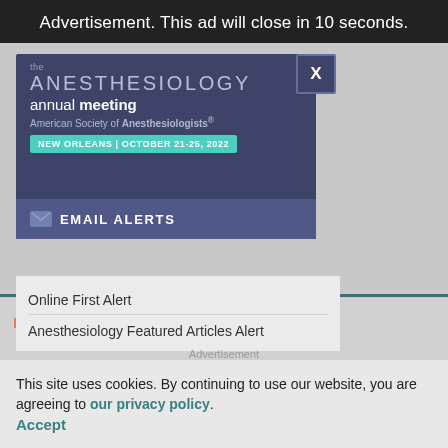Advertisement. This ad will close in 10 seconds.
[Figure (illustration): ASA Annual Meeting advertisement card showing 'the ANESTHESIOLOGY annual meeting' header, American Society of Anesthesiologists branding, NEW ORLEANS | OCTOBER 21-25, 2022, EMAIL ALERTS section, with a close X button]
Online First Alert
Anesthesiology Featured Articles Alert
Advertisement
[Figure (logo): Anesthesiology journal logo with colored squares and triangle]
This site uses cookies. By continuing to use our website, you are agreeing to our privacy policy. Accept